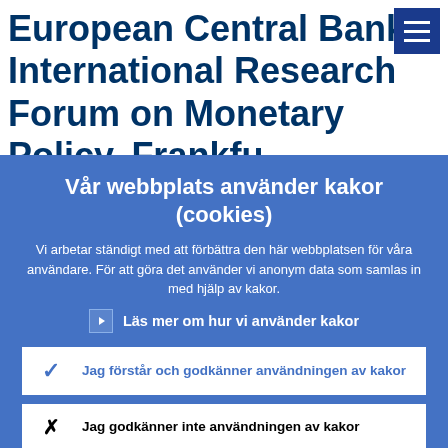European Central Bank, International Research Forum on Monetary Policy, Frankfu
Vår webbplats använder kakor (cookies)
Vi arbetar ständigt med att förbättra den här webbplatsen för våra användare. För att göra det använder vi anonym data som samlas in med hjälp av kakor.
› Läs mer om hur vi använder kakor
✓ Jag förstår och godkänner användningen av kakor
✕ Jag godkänner inte användningen av kakor